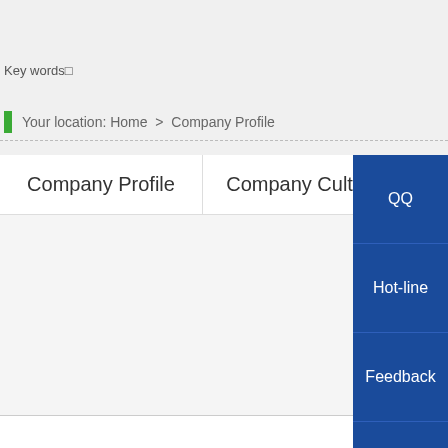Key words□
Your location: Home > Company Profile
Company Profile
Company Culture
QQ
Hot-line
Feedback
Wechat